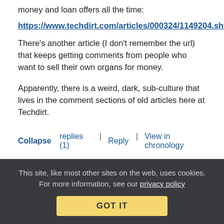money and loan offers all the time:
https://www.techdirt.com/articles/000324/1149204.shtml
There's another article (I don't remember the url) that keeps getting comments from people who want to sell their own organs for money.
Apparently, there is a weird, dark, sub-culture that lives in the comment sections of old articles here at Techdirt.
Collapse replies (1) | Reply | View in chronology
[Figure (infographic): Row of five icon buttons: lightbulb/idea icon, laughing emoji icon, open-quote chat bubble icon, close-quote chat bubble icon, flag icon]
This site, like most other sites on the web, uses cookies. For more information, see our privacy policy
GOT IT